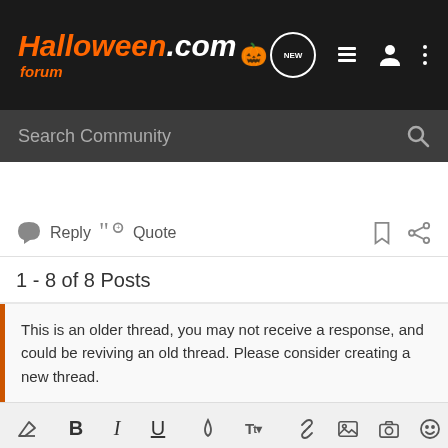HalloweenForum.com
Search Community
Reply  Quote
1 - 8 of 8 Posts
This is an older thread, you may not receive a response, and could be reviving an old thread. Please consider creating a new thread.
[Figure (screenshot): Forum editor toolbar with formatting buttons: eraser, Bold, Italic, Underline, color, font size, link, image, camera, emoji, more, alignment, list, table, undo, redo, save, settings]